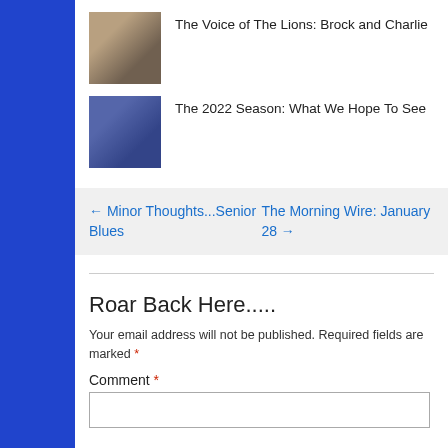[Figure (photo): Thumbnail photo of two people, Brock and Charlie]
The Voice of The Lions: Brock and Charlie
[Figure (photo): Thumbnail photo of football players for the 2022 season article]
The 2022 Season: What We Hope To See
← Minor Thoughts...Senior Blues
The Morning Wire: January 28 →
Roar Back Here.....
Your email address will not be published. Required fields are marked *
Comment *